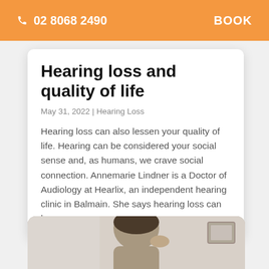02 8068 2490   BOOK
Hearing loss and quality of life
May 31, 2022 | Hearing Loss
Hearing loss can also lessen your quality of life. Hearing can be considered your social sense and, as humans, we crave social connection. Annemarie Lindner is a Doctor of Audiology at Hearlix, an independent hearing clinic in Balmain. She says hearing loss can have a…
[Figure (photo): Photo of a woman touching her ear, partial view, in a hearing clinic setting]